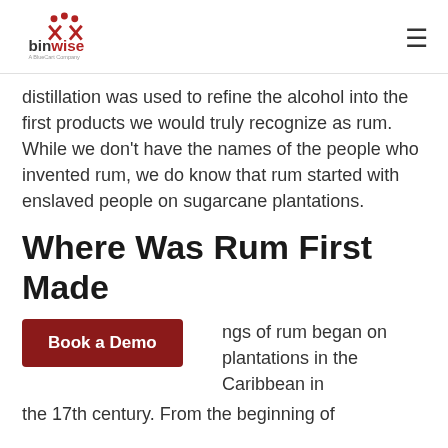binwise — A BlueCart Company
distillation was used to refine the alcohol into the first products we would truly recognize as rum. While we don't have the names of the people who invented rum, we do know that rum started with enslaved people on sugarcane plantations.
Where Was Rum First Made
Book a Demo   ngs of rum began on sugarcane plantations in the Caribbean in the 17th century. From the beginning of